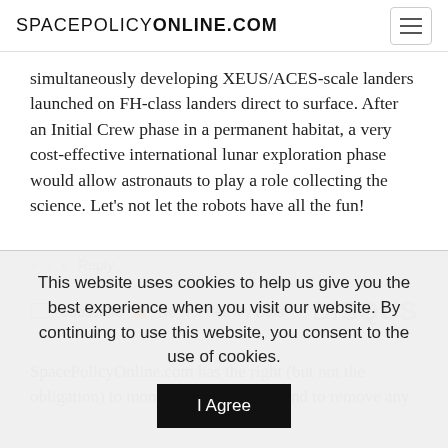SPACEPOLICYONLINE.COM
simultaneously developing XEUS/ACES-scale landers launched on FH-class landers direct to surface. After an Initial Crew phase in a permanent habitat, a very cost-effective international lunar exploration phase would allow astronauts to play a role collecting the science. Let’s not let the robots have all the fun!
^ | ∨ Reply
✉ Subscribe ⚠ Do Not Sell My Data  DISQUS
SpacePolicyOnline.com has the right (but not the obligation) to monitor the comments and to remove any
This website uses cookies to help us give you the best experience when you visit our website. By continuing to use this website, you consent to the use of cookies.
I Agree